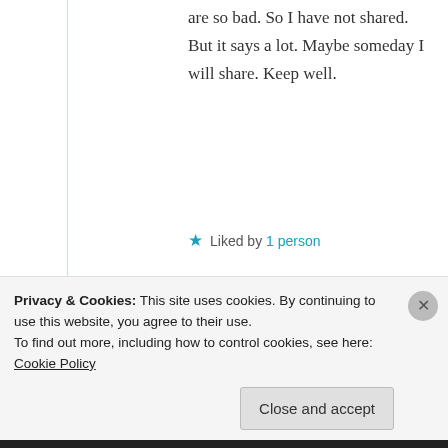are so bad. So I have not shared. But it says a lot. Maybe someday I will share. Keep well.
★ Liked by 1 person
Suma Reddy
27th Jun 2021 at 1:03 pm
Privacy & Cookies: This site uses cookies. By continuing to use this website, you agree to their use.
To find out more, including how to control cookies, see here: Cookie Policy
Close and accept